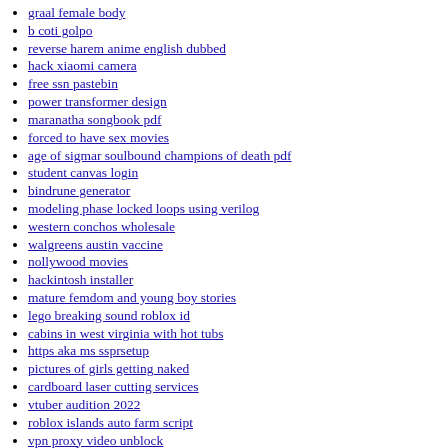graal female body
b coti golpo
reverse harem anime english dubbed
hack xiaomi camera
free ssn pastebin
power transformer design
maranatha songbook pdf
forced to have sex movies
age of sigmar soulbound champions of death pdf
student canvas login
bindrune generator
modeling phase locked loops using verilog
western conchos wholesale
walgreens austin vaccine
nollywood movies
hackintosh installer
mature femdom and young boy stories
lego breaking sound roblox id
cabins in west virginia with hot tubs
https aka ms ssprsetup
pictures of girls getting naked
cardboard laser cutting services
vtuber audition 2022
roblox islands auto farm script
vpn proxy video unblock